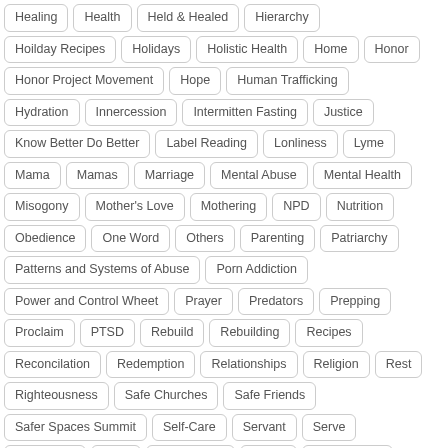Healing
Health
Held & Healed
Hierarchy
Hoilday Recipes
Holidays
Holistic Health
Home
Honor
Honor Project Movement
Hope
Human Trafficking
Hydration
Innercession
Intermitten Fasting
Justice
Know Better Do Better
Label Reading
Lonliness
Lyme
Mama
Mamas
Marriage
Mental Abuse
Mental Health
Misogony
Mother's Love
Mothering
NPD
Nutrition
Obedience
One Word
Others
Parenting
Patriarchy
Patterns and Systems of Abuse
Porn Addiction
Power and Control Wheet
Prayer
Predators
Prepping
Proclaim
PTSD
Rebuild
Rebuilding
Recipes
Reconcilation
Redemption
Relationships
Religion
Rest
Righteousness
Safe Churches
Safe Friends
Safer Spaces Summit
Self-Care
Servant
Serve
Sisterhood
Sons
Soul Sisters
Speak
Spiritual Abuse